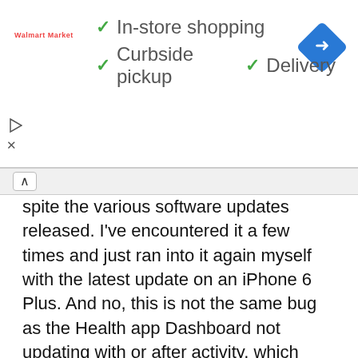[Figure (infographic): Advertisement banner showing Walmart Market logo with checkmarks for In-store shopping, Curbside pickup, and Delivery, plus a blue navigation diamond icon on the right. Play and close icons on the left side.]
spite the various software updates released. I've encountered it a few times and just ran into it again myself with the latest update on an iPhone 6 Plus. And no, this is not the same bug as the Health app Dashboard not updating with or after activity, which happens sometimes too and can typically be resolved by quitting and re-opening Health app.
By the way, if you have a new iPhone and you are not yet tracking your steps, mileage moved, and some general fitness data, you should start. It's easy to setup Health app tracking, and offers a simple way to keep an eye on your activity levels – just don't be surprised if your